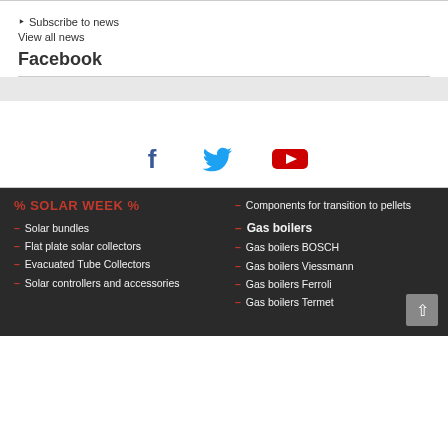Subscribe to news
View all news
Facebook
[Figure (infographic): Social media icons row: Facebook (f), Twitter bird, YouTube play button]
% SOLAR WEEK %
Solar bundles
Flat plate solar collectors
Evacuated Tube Collectors
Solar controllers and accessories
Components for transition to pellets
Gas boilers
Gas boilers BOSCH
Gas boilers Viessmann
Gas boilers Ferroli
Gas boilers Termet